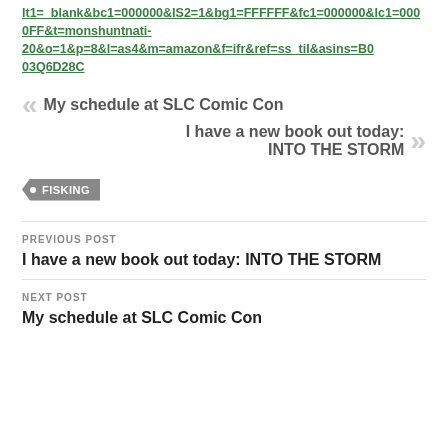lt1=_blank&bc1=000000&IS2=1&bg1=FFFFFF&fc1=000000&lc1=0000FF&t=monshuntnati-20&o=1&p=8&l=as4&m=amazon&f=ifr&ref=ss_til&asins=B003Q6D28C
My schedule at SLC Comic Con
I have a new book out today: INTO THE STORM
FISKING
PREVIOUS POST
I have a new book out today: INTO THE STORM
NEXT POST
My schedule at SLC Comic Con